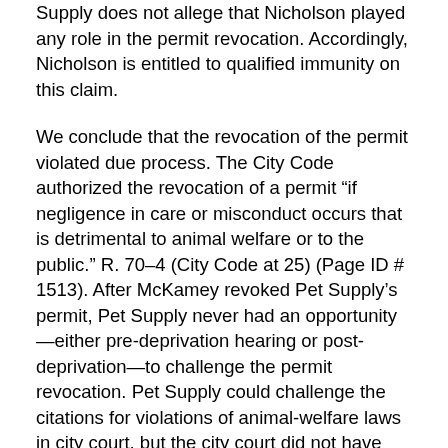Supply does not allege that Nicholson played any role in the permit revocation. Accordingly, Nicholson is entitled to qualified immunity on this claim.
We conclude that the revocation of the permit violated due process. The City Code authorized the revocation of a permit “if negligence in care or misconduct occurs that is detrimental to animal welfare or to the public.” R. 70–4 (City Code at 25) (Page ID # 1513). After McKamey revoked Pet Supply’s permit, Pet Supply never had an opportunity—either pre-deprivation hearing or post-deprivation—to challenge the permit revocation. Pet Supply could challenge the citations for violations of animal-welfare laws in city court, but the city court did not have authority over the permit and could not order the reinstatement of the permit. R. 69–12 (City Court Order at 3 n. 1) (Page ID # 1370) (“[t]he court is [ ] of the opinion the City Court has no authority to revoke or make any order relative to the license of the Pet Company.”). It was the policy and practice of McKamey and the City of Chattanooga to require an individual or company